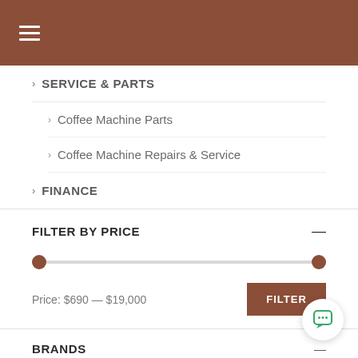Navigation menu header bar
SERVICE & PARTS
Coffee Machine Parts
Coffee Machine Repairs & Service
FINANCE
FILTER BY PRICE
Price: $690 — $19,000
BRANDS